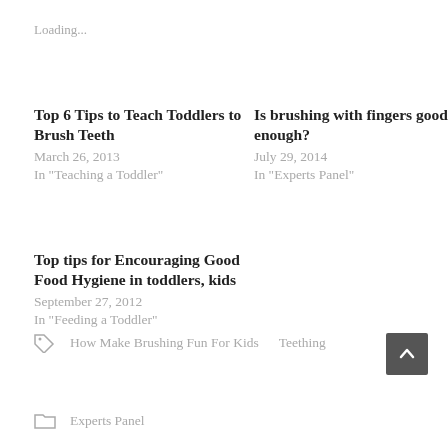Loading...
Top 6 Tips to Teach Toddlers to Brush Teeth
March 26, 2013
In "Teaching a Toddler"
Is brushing with fingers good enough?
July 29, 2014
In "Experts Panel"
Top tips for Encouraging Good Food Hygiene in toddlers, kids
September 27, 2012
In "Feeding a Toddler"
How Make Brushing Fun For Kids   Teething
Experts Panel